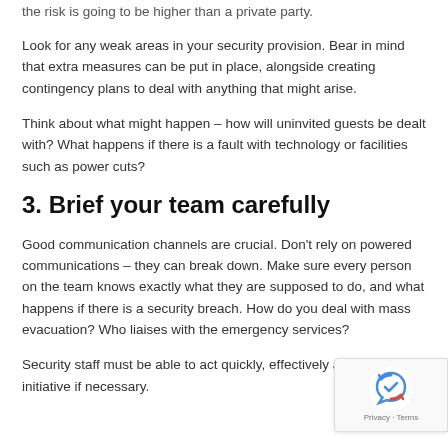the risk is going to be higher than a private party.
Look for any weak areas in your security provision. Bear in mind that extra measures can be put in place, alongside creating contingency plans to deal with anything that might arise.
Think about what might happen – how will uninvited guests be dealt with? What happens if there is a fault with technology or facilities such as power cuts?
3. Brief your team carefully
Good communication channels are crucial. Don’t rely on powered communications – they can break down. Make sure every person on the team knows exactly what they are supposed to do, and what happens if there is a security breach. How do you deal with mass evacuation? Who liaises with the emergency services?
Security staff must be able to act quickly, effectively and take initiative if necessary.